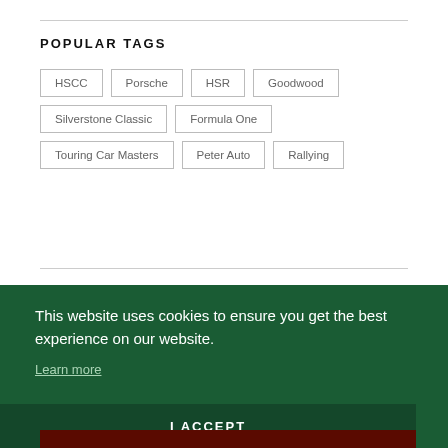POPULAR TAGS
HSCC
Porsche
HSR
Goodwood
Silverstone Classic
Formula One
Touring Car Masters
Peter Auto
Rallying
This website uses cookies to ensure you get the best experience on our website. Learn more
I ACCEPT